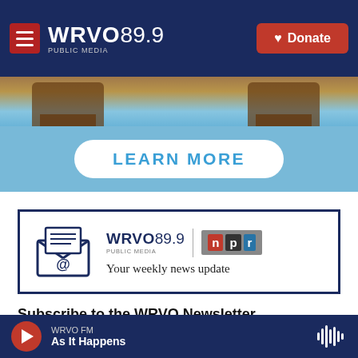WRVO 89.9 PUBLIC MEDIA — Donate
[Figure (photo): Partial view of wooden Adirondack chairs outdoors near water, top portion cropped]
[Figure (other): Light blue banner with LEARN MORE button in white rounded rectangle with blue text]
[Figure (other): Newsletter signup banner: envelope with @ symbol icon on left, WRVO 89.9 PUBLIC MEDIA logo and NPR logo on right, tagline: Your weekly news update]
Subscribe to the WRVO Newsletter
email address
WRVO FM — As It Happens